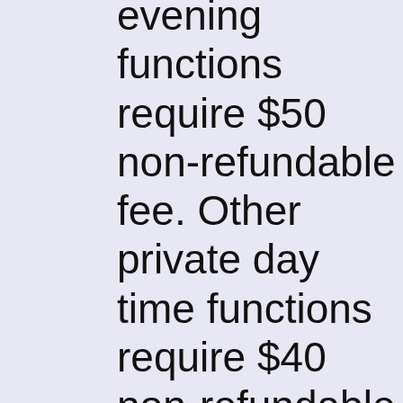evening functions require $50 non-refundable fee. Other private day time functions require $40 non-refundable fee. Check to see if